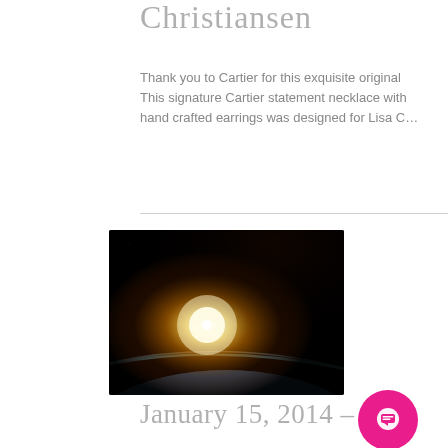Christiansen
Thank you to Cartier for this exquisite original This signature Cartier statement necklace with hand crafted earrings was designed for Lisa C…
[Figure (photo): A dramatic space image showing a sunrise or bright light burst over a planet's curved horizon against a dark background, with golden and orange tones.]
January 15, 2014 –